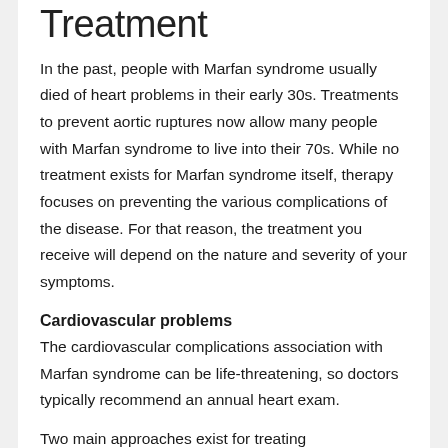Treatment
In the past, people with Marfan syndrome usually died of heart problems in their early 30s. Treatments to prevent aortic ruptures now allow many people with Marfan syndrome to live into their 70s. While no treatment exists for Marfan syndrome itself, therapy focuses on preventing the various complications of the disease. For that reason, the treatment you receive will depend on the nature and severity of your symptoms.
Cardiovascular problems
The cardiovascular complications association with Marfan syndrome can be life-threatening, so doctors typically recommend an annual heart exam.
Two main approaches exist for treating